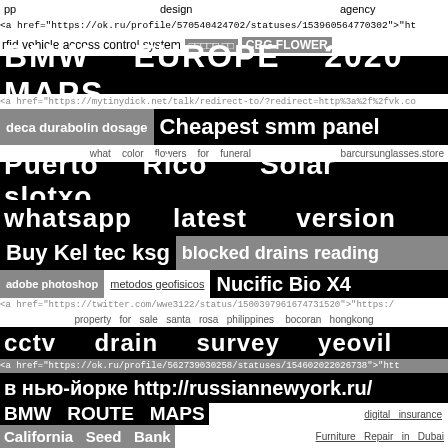pp design agency
<a href="https://ok.ru/profile/570540424702/statuses/153960564770302">"ht
rfid vehicle access control system  □□□□□ □□  CBG FLOWER
BMW EUROPE 2020 MAPS
<a href="https://mytinydick.net/talk/redirect-to/?redirect=http%3a%2f%2fvk.co
deca durabolin dosage  Cheapest smm panel
what color flowers for funeral  barcursunglasses.store
Puerto Rico Solar slotxo
whatsapp latest version
Buy Kel tec ksg  blocked drains reading
adobe photoshop  metodos geofisicos  Nucific Bio X4
<a href="https://twitter.com/wwe3122/status/1500397961674731520">"https:/
property for sale santa rosa philippines  bocoran hongkong
cctv drain survey yeovil
<a href="https://ok.ru/profile/562739030258/statuses/154602022026738">"htt
в нью-йорке http://russiannewyork.ru/
BMW ROUTE MAPS  digital insurance
California Seed Bank  Furniture Repair in Dubai
BMW NEXT MAPS  Acadonia.Zionzee.com
tadalafil sublingual  Ingleside IL local SEO